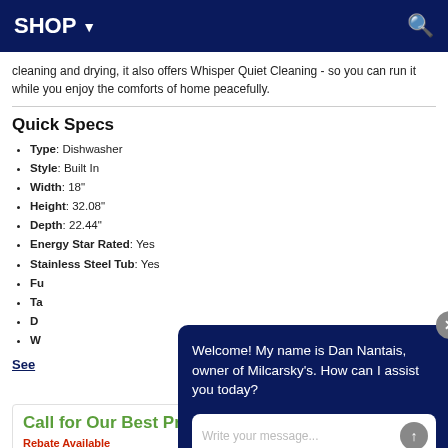SHOP ▾
cleaning and drying, it also offers Whisper Quiet Cleaning - so you can run it while you enjoy the comforts of home peacefully.
Quick Specs
Type: Dishwasher
Style: Built In
Width: 18"
Height: 32.08"
Depth: 22.44"
Energy Star Rated: Yes
Stainless Steel Tub: Yes
Fu[partially obscured]
Ta[partially obscured]
D[partially obscured]
W[partially obscured]
See [more]
Call for Our Best Price
Rebate Available
Welcome! My name is Dan Nantais, owner of Milcarsky's. How can I assist you today?